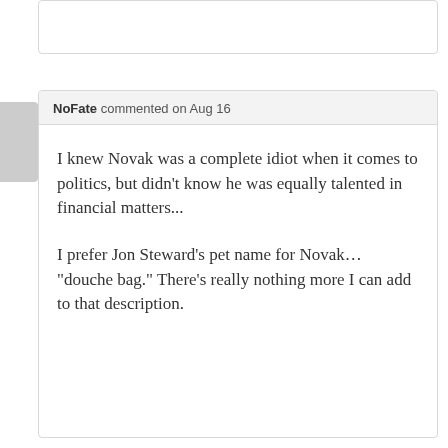NoFate commented on Aug 16
I knew Novak was a complete idiot when it comes to politics, but didn’t know he was equally talented in financial matters...

I prefer Jon Steward’s pet name for Novak… “douche bag.” There’s really nothing more I can add to that description.